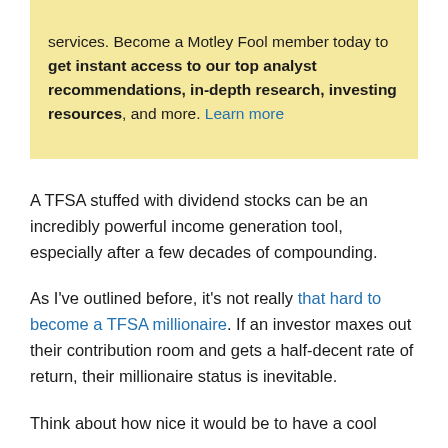services. Become a Motley Fool member today to get instant access to our top analyst recommendations, in-depth research, investing resources, and more. Learn more
A TFSA stuffed with dividend stocks can be an incredibly powerful income generation tool, especially after a few decades of compounding.
As I've outlined before, it's not really that hard to become a TFSA millionaire. If an investor maxes out their contribution room and gets a half-decent rate of return, their millionaire status is inevitable.
Think about how nice it would be to have a cool